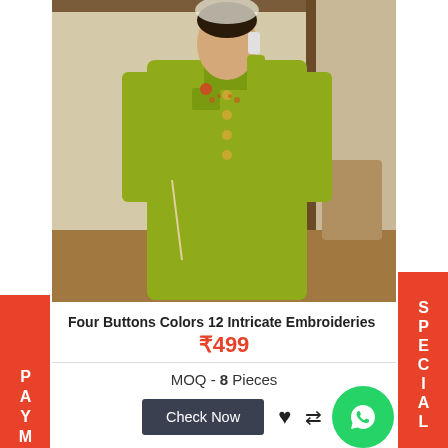[Figure (photo): Woman wearing olive/yellow-green long kurta dress, holding a phone, indoor setting]
Four Buttons Colors 12 Intricate Embroideries Kur ...
₹499
MOQ - 8 Pieces
Check Now
PAYMENT
SPECIAL OFFERS
[Figure (photo): Four Buttons brand MEHER collection product image with dark brown background]
ON BOOKING